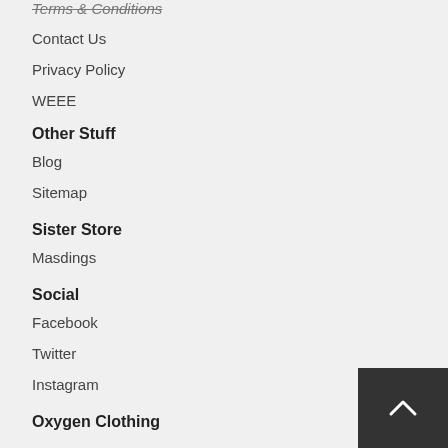Terms & Conditions (clipped at top)
Contact Us
Privacy Policy
WEEE
Other Stuff
Blog
Sitemap
Sister Store
Masdings
Social
Facebook
Twitter
Instagram
Oxygen Clothing